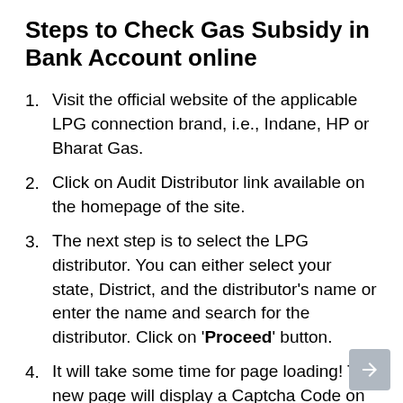Steps to Check Gas Subsidy in Bank Account online
Visit the official website of the applicable LPG connection brand, i.e., Indane, HP or Bharat Gas.
Click on Audit Distributor link available on the homepage of the site.
The next step is to select the LPG distributor. You can either select your state, District, and the distributor's name or enter the name and search for the distributor. Click on 'Proceed' button.
It will take some time for page loading! The new page will display a Captcha Code on the screen which you need to enter in the